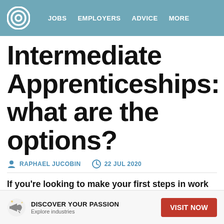JOBS   EMPLOYERS   ADVICE   MORE
Intermediate Apprenticeships: what are the options?
RAPHAEL JUCOBIN   22 JUL 2020
If you're looking to make your first steps in work to gain some early, hands-on experience i
DISCOVER YOUR PASSION Explore industries   VISIT NOW